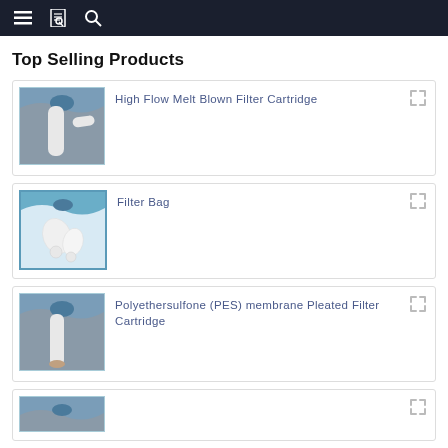Navigation bar with menu, document, and search icons
Top Selling Products
High Flow Melt Blown Filter Cartridge
Filter Bag
Polyethersulfone (PES) membrane Pleated Filter Cartridge